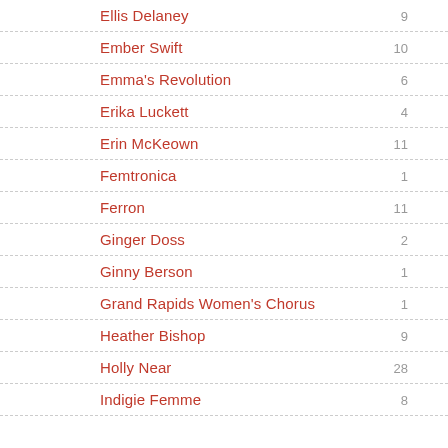Ellis Delaney
Ember Swift
Emma's Revolution
Erika Luckett
Erin McKeown
Femtronica
Ferron
Ginger Doss
Ginny Berson
Grand Rapids Women's Chorus
Heather Bishop
Holly Near
Indigie Femme